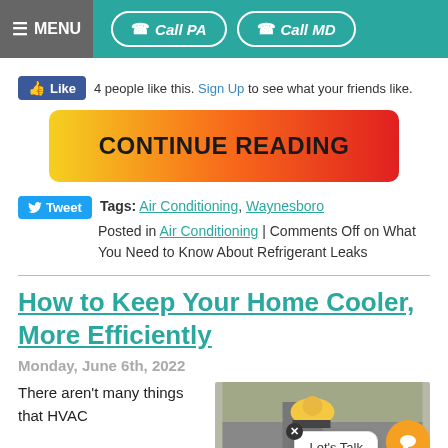MENU | Call PA | Call MD
4 people like this. Sign Up to see what your friends like.
[Figure (other): Continue Reading button with yellow to red gradient]
Tweet  Tags: Air Conditioning, Waynesboro
Posted in Air Conditioning | Comments Off on What You Need to Know About Refrigerant Leaks
How to Keep Your Home Cooler, More Efficiently
Monday, June 6th, 2022
There aren't many things that HVAC
[Figure (photo): HVAC technician in yellow hard hat outdoors near building]